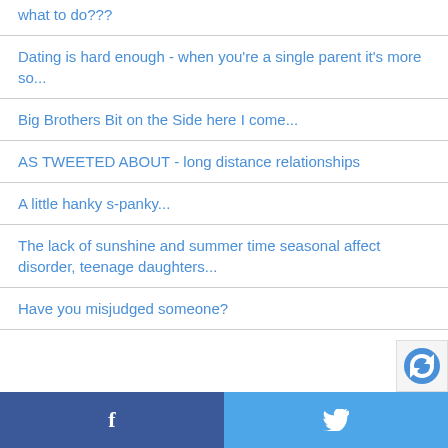what to do???
Dating is hard enough - when you're a single parent it's more so...
Big Brothers Bit on the Side here I come...
AS TWEETED ABOUT - long distance relationships
A little hanky s-panky...
The lack of sunshine and summer time seasonal affect disorder, teenage daughters...
Have you misjudged someone?
f  [Twitter bird icon]